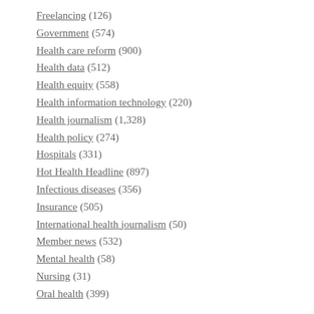Freelancing (126)
Government (574)
Health care reform (900)
Health data (512)
Health equity (558)
Health information technology (220)
Health journalism (1,328)
Health policy (274)
Hospitals (331)
Hot Health Headline (897)
Infectious diseases (356)
Insurance (505)
International health journalism (50)
Member news (532)
Mental health (58)
Nursing (31)
Oral health (399)